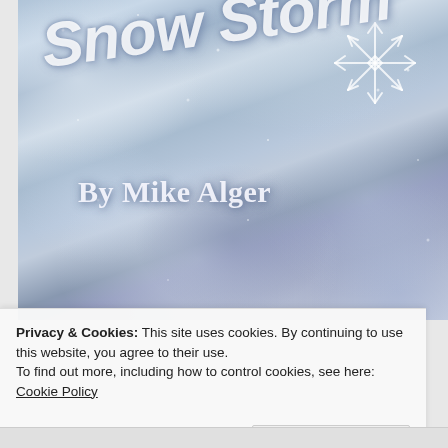[Figure (illustration): Book cover for 'Snow Storm' by Mike Alger. Wintry scene with pale blue-grey cloudy sky background, cursive white italic title text 'Snow Storm' tilted diagonally, a snowflake graphic in upper right, author credit 'By Mike Alger' in bold serif text below the title.]
Privacy & Cookies: This site uses cookies. By continuing to use this website, you agree to their use.
To find out more, including how to control cookies, see here: Cookie Policy
Close and accept